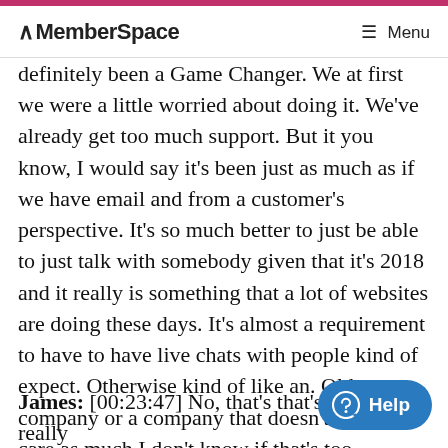MemberSpace   ☰ Menu
definitely been a Game Changer. We at first we were a little worried about doing it. We've already get too much support. But it you know, I would say it's been just as much as if we have email and from a customer's perspective. It's so much better to just be able to just talk with somebody given that it's 2018 and it really is something that a lot of websites are doing these days. It's almost a requirement to have to have live chats with people kind of expect. Otherwise kind of like an. Old company or a company that doesn't maybe care as much I don't know if that's too aggressive.
James: [00:23:47] No, that's that's really mean like I mean. I'm a customer of yours and I've used